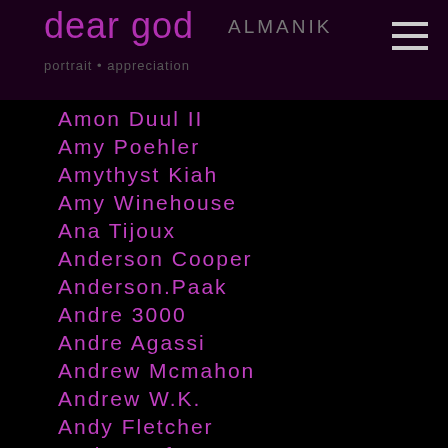dear god
Amon Duul II
Amy Poehler
Amythyst Kiah
Amy Winehouse
Ana Tijoux
Anderson Cooper
Anderson.Paak
Andre 3000
Andre Agassi
Andrew Mcmahon
Andrew W.K.
Andy Fletcher
Andy Kaufman
Andy Pitcher
Andy Summers
Andy Warhol
Andy White